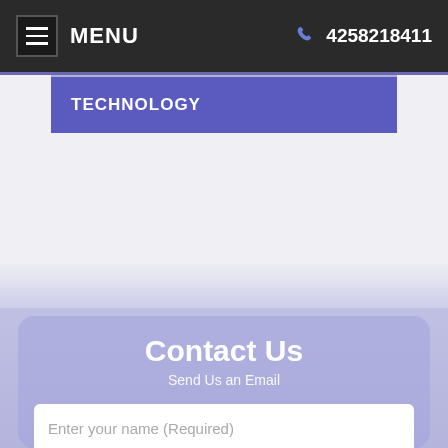MENU  4258218411
TECHNOLOGY
Contact Us
Send Us an Email
Enter your name (Required)
Enter email (Required)
Accessibility View